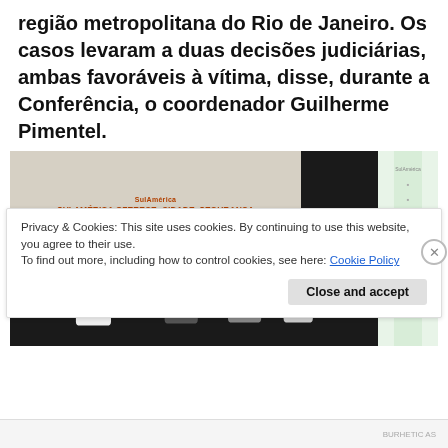documentaram agressões por agentes públicos na região metropolitana do Rio de Janeiro. Os casos levaram a duas decisões judiciárias, ambas favoráveis à vítima, disse, durante a Conferência, o coordenador Guilherme Pimentel.
[Figure (photo): Conference panel scene with a projected slide reading 'SulAmérica oferece: Cidade, Segurança e Convivência – Um diálogo sobre ações inclusivas no Rio de Janeiro' with speakers seated on stage, and a green branded banner on the right side.]
Privacy & Cookies: This site uses cookies. By continuing to use this website, you agree to their use.
To find out more, including how to control cookies, see here: Cookie Policy